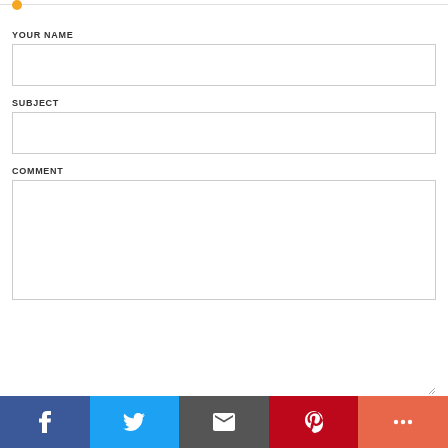YOUR NAME
SUBJECT
COMMENT
[Figure (screenshot): Social share bar with Facebook, Twitter, Email, Pinterest, and More buttons]